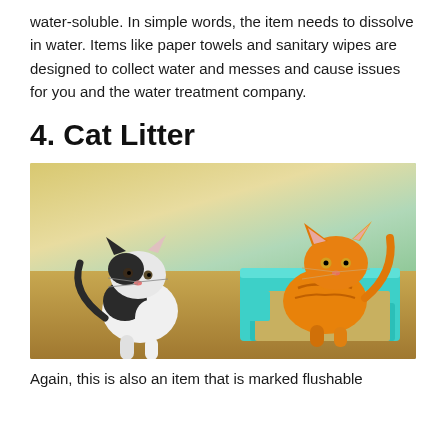water-soluble. In simple words, the item needs to dissolve in water. Items like paper towels and sanitary wipes are designed to collect water and messes and cause issues for you and the water treatment company.
4. Cat Litter
[Figure (photo): Two kittens near a teal/turquoise cat litter box on a carpet background. One kitten is black and white (left), the other is orange/ginger (right, partially inside the litter box).]
Again, this is also an item that is marked flushable